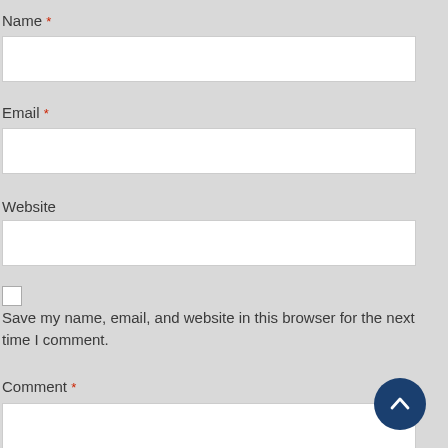Name *
[Figure (other): Text input field for Name]
Email *
[Figure (other): Text input field for Email]
Website
[Figure (other): Text input field for Website]
[Figure (other): Checkbox unchecked]
Save my name, email, and website in this browser for the next time I comment.
Comment *
[Figure (other): Textarea for Comment]
[Figure (other): Back to top button with upward chevron]